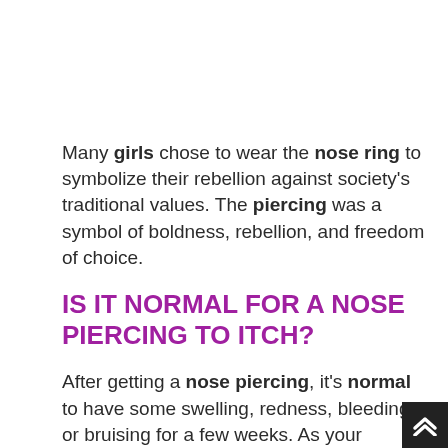Many girls chose to wear the nose ring to symbolize their rebellion against society's traditional values. The piercing was a symbol of boldness, rebellion, and freedom of choice.
IS IT NORMAL FOR A NOSE PIERCING TO ITCH?
After getting a nose piercing, it's normal to have some swelling, redness, bleeding, or bruising for a few weeks. As your piercing starts to heal, it's also typical for: the area to itch.